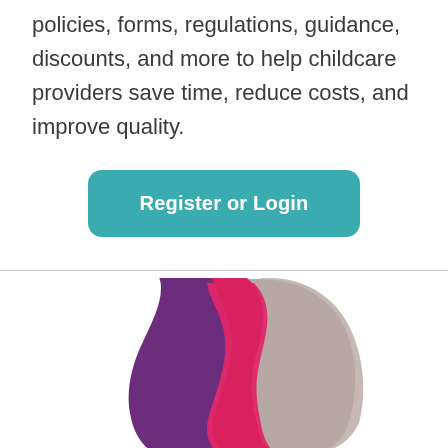policies, forms, regulations, guidance, discounts, and more to help childcare providers save time, reduce costs, and improve quality.
[Figure (illustration): A teal/blue rounded rectangle button labeled 'Register or Login' in white bold text]
[Figure (illustration): Three overlapping silhouettes of women's profiles/faces — purple on the left, pink/magenta in the middle, and light gray/taupe on the right — forming a layered illustration]